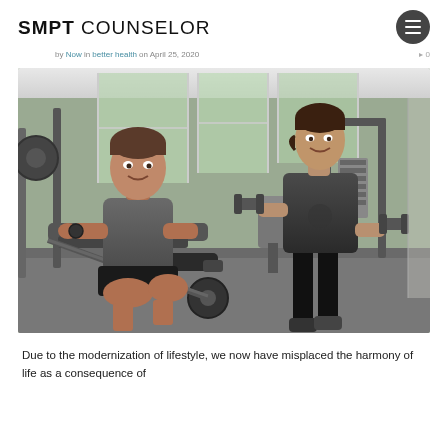SMPT COUNSELOR
by Now in better health on April 25, 2020   0
[Figure (photo): Two people in a gym: a young man seated on a leg-press machine smiling, and a young woman standing holding dumbbells, both wearing casual athletic wear in a modern gym with large windows.]
Due to the modernization of lifestyle, we now have misplaced the harmony of life as a consequence of